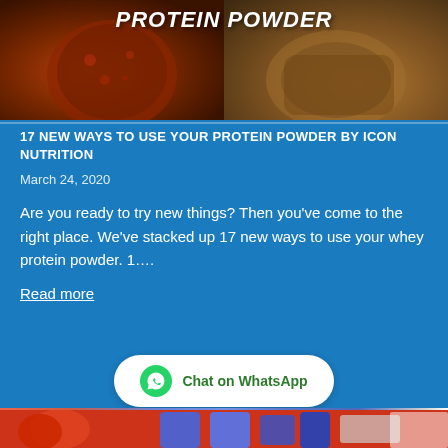[Figure (photo): Header image split in two halves: left side shows a dark chocolate-covered strawberry or dessert with a rustic texture on warm orange background, right side shows a brown cup or bowl of protein powder on dark background. Bold white italic text 'PROTEIN POWDER' overlaid across the top of the image.]
17 NEW WAYS TO USE YOUR PROTEIN POWDER BY ICON NUTRITION
March 24, 2020
Are you ready to try new things? Then you’ve come to the right place. We’ve stacked up 17 new ways to use your whey protein powder. 1….
Read more
[Figure (other): WhatsApp chat button — white rounded rectangle button with WhatsApp green icon on the left and text 'Chat on WhatsApp' in green]
[Figure (photo): Bottom strip of a partially visible image showing colorful objects including red and blue items, appearing to be a food/nutrition related photo]